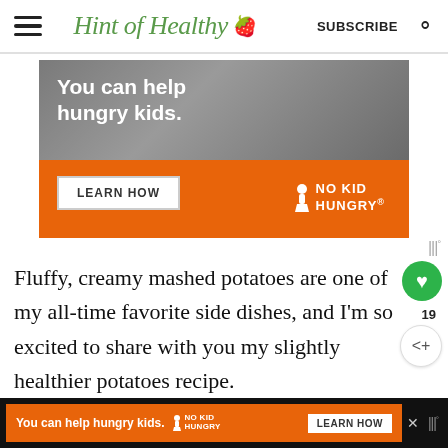Hint of Healthy — SUBSCRIBE
[Figure (screenshot): No Kid Hungry advertisement banner with text 'You can help hungry kids.' and 'LEARN HOW' button]
Fluffy, creamy mashed potatoes are one of my all-time favorite side dishes, and I'm so excited to share with you my slightly healthier potatoes recipe.
[Figure (screenshot): Bottom advertisement bar: 'You can help hungry kids.' No Kid Hungry. LEARN HOW button. Close button X.]